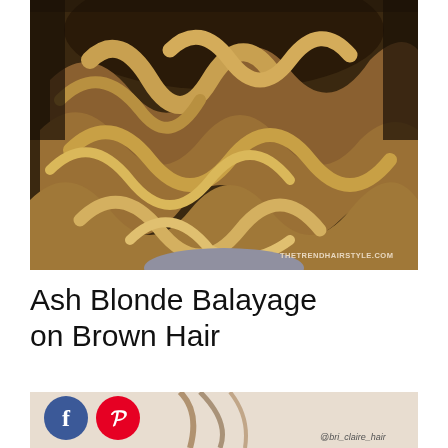[Figure (photo): Back view of a woman with ash blonde balayage on brown wavy hair, with watermark THETRENDHAIRSTYLE.COM at bottom right]
Ash Blonde Balayage on Brown Hair
[Figure (photo): Partial photo of a woman's hair from behind, with Facebook and Pinterest share buttons overlaid on the left, and @bri_claire_hair credit at bottom right]